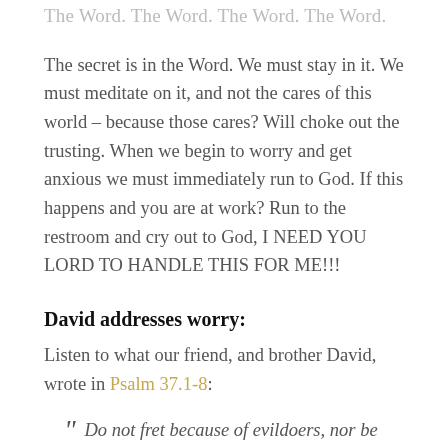The Word. The Word. The Word. The Word.
The secret is in the Word. We must stay in it. We must meditate on it, and not the cares of this world – because those cares? Will choke out the trusting. When we begin to worry and get anxious we must immediately run to God. If this happens and you are at work? Run to the restroom and cry out to God, I NEED YOU LORD TO HANDLE THIS FOR ME!!!
David addresses worry:
Listen to what our friend, and brother David, wrote in Psalm 37.1-8:
“ Do not fret because of evildoers, nor be